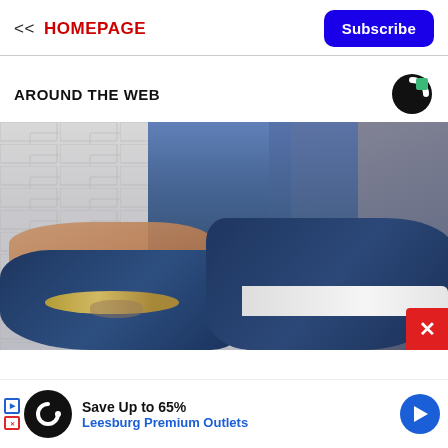<< HOMEPAGE
Subscribe
AROUND THE WEB
[Figure (photo): Close-up photo of a person wearing blue jeans and dark navy blue flat shoes with a white sole and a gold chain anklet, against a white brick wall background.]
x
Save Up to 65%
Leesburg Premium Outlets